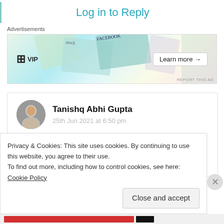Log in to Reply
[Figure (photo): WordPress VIP advertisement banner with colorful overlapping cards/gift cards in background and 'Learn more →' button]
Advertisements
Tanishq Abhi Gupta
25th Jun 2021 at 6:50 pm
Great Work, Suma.

“Life is a game
Privacy & Cookies: This site uses cookies. By continuing to use this website, you agree to their use.
To find out more, including how to control cookies, see here: Cookie Policy
Close and accept